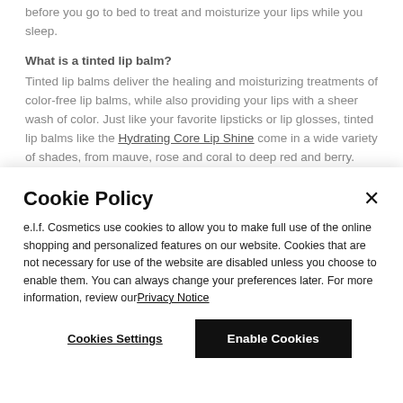before you go to bed to treat and moisturize your lips while you sleep.
What is a tinted lip balm?
Tinted lip balms deliver the healing and moisturizing treatments of color-free lip balms, while also providing your lips with a sheer wash of color. Just like your favorite lipsticks or lip glosses, tinted lip balms like the Hydrating Core Lip Shine come in a wide variety of shades, from mauve, rose and coral to deep red and berry.
What does a lip scrub do?
A lip scrub or lip exfoliator gently buffs away dry surface skin, leaving lips smoother and softer. Lip scrubs generally have a slightly gritty or sugary texture, which helps to lift off the dry skin. Lipsticks, lip liners and lip
Cookie Policy
e.l.f. Cosmetics use cookies to allow you to make full use of the online shopping and personalized features on our website. Cookies that are not necessary for use of the website are disabled unless you choose to enable them. You can always change your preferences later. For more information, review ourPrivacy Notice
Cookies Settings
Enable Cookies